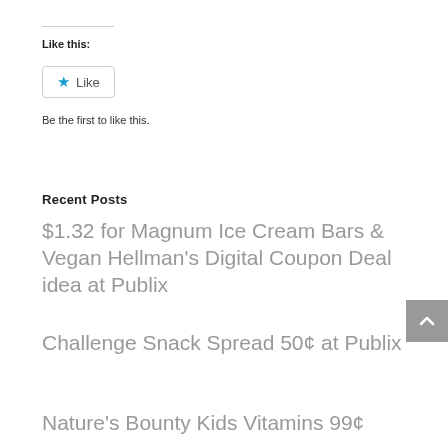Like this:
[Figure (other): Like button widget with blue star icon and 'Like' text, bordered rounded button]
Be the first to like this.
Recent Posts
$1.32 for Magnum Ice Cream Bars & Vegan Hellman's Digital Coupon Deal idea at Publix
Challenge Snack Spread 50¢ at Publix
Nature's Bounty Kids Vitamins 99¢ at Publix